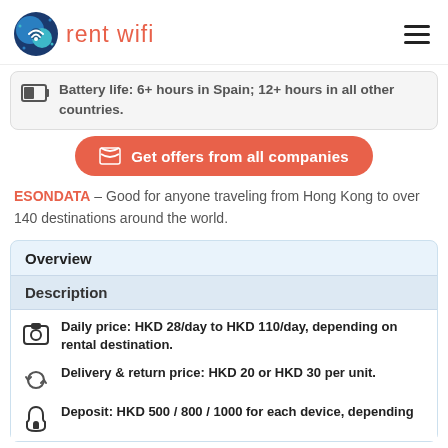rent wifi
Battery life: 6+ hours in Spain; 12+ hours in all other countries.
Get offers from all companies
ESONDATA – Good for anyone traveling from Hong Kong to over 140 destinations around the world.
Overview
Description
Daily price: HKD 28/day to HKD 110/day, depending on rental destination.
Delivery & return price: HKD 20 or HKD 30 per unit.
Deposit: HKD 500 / 800 / 1000 for each device, depending